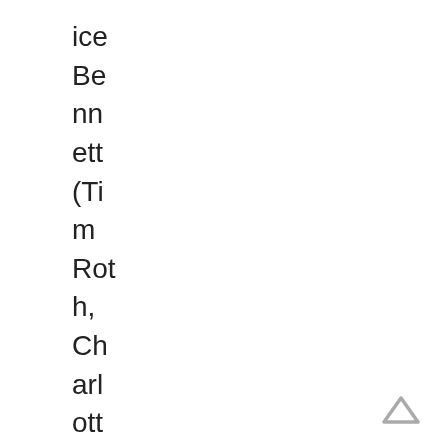ice Be nn ett (Ti m Rot h, Ch arl ott e Gai ns bo urg